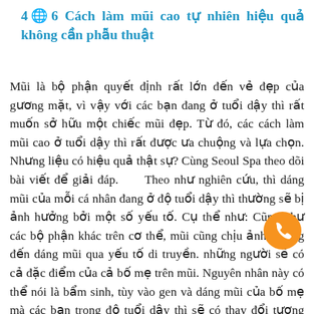4🌐6 Cách làm mũi cao tự nhiên hiệu quả không cần phẫu thuật
Mũi là bộ phận quyết định rất lớn đến vẻ đẹp của gương mặt, vì vậy với các bạn đang ở tuổi dậy thì rất muốn sở hữu một chiếc mũi đẹp. Từ đó, các cách làm mũi cao ở tuổi dậy thì rất được ưa chuộng và lựa chọn. Nhưng liệu có hiệu quả thật sự? Cùng Seoul Spa theo dõi bài viết để giải đáp.      Theo như nghiên cứu, thì dáng mũi của mỗi cá nhân đang ở độ tuổi dậy thì thường sẽ bị ảnh hưởng bởi một số yếu tố. Cụ thể như: Cũng như các bộ phận khác trên cơ thể, mũi cũng chịu ảnh hưởng đến dáng mũi qua yếu tố di truyền. những người sẽ có cả đặc điểm của cả bố mẹ trên mũi. Nguyên nhân này có thể nói là bẩm sinh, tùy vào gen và dáng mũi của bố mẹ mà các bạn trong độ tuổi dậy thì sẽ có thay đổi tương ứng.      Đặc điểm cơ thể con người là
[Figure (other): Orange circular phone call button icon]